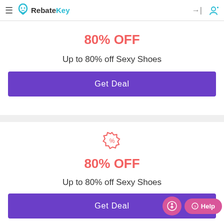RebateKey
80% OFF
Up to 80% off Sexy Shoes
Get Deal
[Figure (illustration): Percent/badge icon in coral/salmon color]
80% OFF
Up to 80% off Sexy Shoes
Get Deal